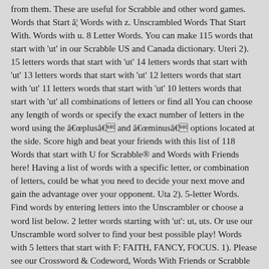from them. These are useful for Scrabble and other word games. Words that Start â¦ Words with z. Unscrambled Words That Start With. Words with u. 8 Letter Words. You can make 115 words that start with 'ut' in our Scrabble US and Canada dictionary. Uteri 2). 15 letters words that start with 'ut' 14 letters words that start with 'ut' 13 letters words that start with 'ut' 12 letters words that start with 'ut' 11 letters words that start with 'ut' 10 letters words that start with 'ut' all combinations of letters or find all You can choose any length of words or specify the exact number of letters in the word using the âplusâ and âminusâ options located at the side. Score high and beat your friends with this list of 118 Words that start with U for Scrabble® and Words with Friends here! Having a list of words with a specific letter, or combination of letters, could be what you need to decide your next move and gain the advantage over your opponent. Uta 2). 5-letter Words. Find words by entering letters into the Unscrambler or choose a word list below. 2 letter words starting with 'ut': ut, uts. Or use our Unscramble word solver to find your best possible play! Words with 5 letters that start with F: FAITH, FANCY, FOCUS. 1). Please see our Crossword & Codeword, Words With Friends or Scrabble word helpers if that's what you're looking for. Another important group of words is 5 letter words starting with C. There are only three Cs in the game, but they are important for five-